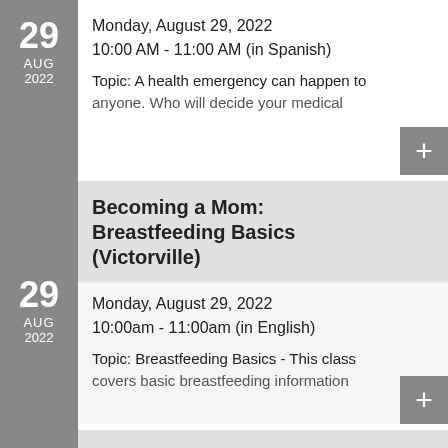29 AUG 2022
Monday, August 29, 2022
10:00 AM - 11:00 AM (in Spanish)
Topic: A health emergency can happen to anyone. Who will decide your medical
Becoming a Mom: Breastfeeding Basics (Victorville)
29 AUG 2022
Monday, August 29, 2022
10:00am - 11:00am (in English)
Topic: Breastfeeding Basics - This class covers basic breastfeeding information
Becoming a Mom: Prenatal Care (San Bernardino)